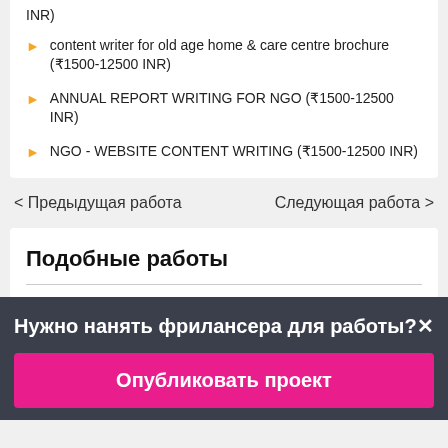INR)
content writer for old age home & care centre brochure (₹1500-12500 INR)
ANNUAL REPORT WRITING FOR NGO (₹1500-12500 INR)
NGO - WEBSITE CONTENT WRITING (₹1500-12500 INR)
< Предыдущая работа
Следующая работа >
Подобные работы
Нужно нанять фрилансера для работы?×
Опубликовать проект